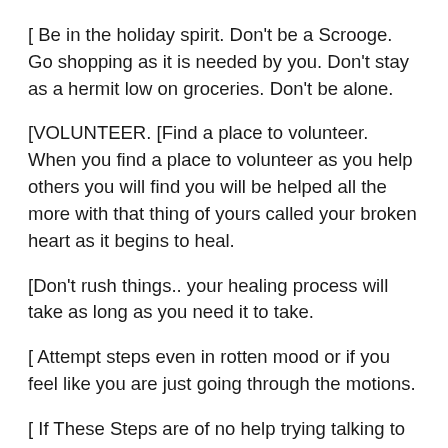[ Be in the holiday spirit.  Don't be a Scrooge. Go shopping as it is needed by you. Don't stay as a hermit low on groceries.  Don't be alone.
[VOLUNTEER. [Find a place to volunteer. When you find a place to volunteer as you help others you will find you will be helped all the more with that thing of yours called your broken heart as it begins to heal.
[Don't rush things.. your healing process will take as long as you need it to take.
[ Attempt steps even in rotten mood or if you feel like you are just going through the motions.
[ If These Steps are of no help trying talking to a professional aka therapist, who will listen and be